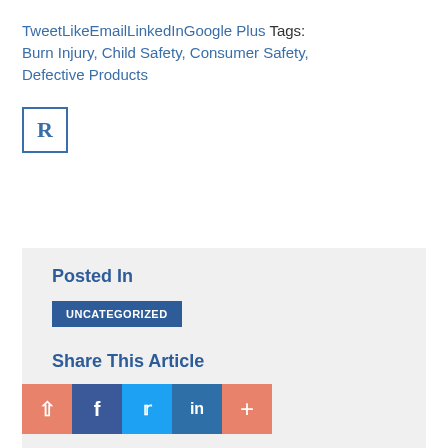TweetLikeEmailLinkedInGoogle Plus Tags: Burn Injury, Child Safety, Consumer Safety, Defective Products
[Figure (logo): R logo — blue bordered box with serif R letter inside]
Posted In
UNCATEGORIZED
Share This Article
[Figure (infographic): Row of social share icon buttons: scroll-to-top (salmon), Facebook (dark blue), Twitter (light blue), LinkedIn (medium blue), Google Plus (salmon/orange) with a plus sign]